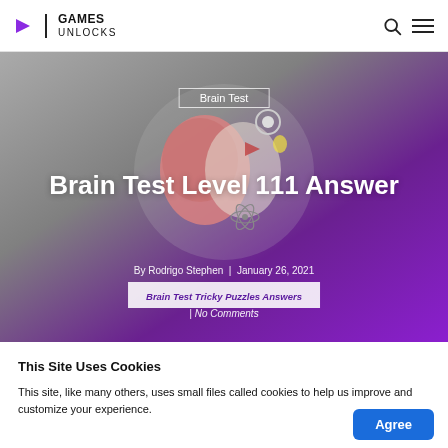Games Unlocks
[Figure (screenshot): Hero banner with brain illustration, gradient background (grey to purple), title 'Brain Test Level 111 Answer', tag 'Brain Test', author/date metadata, and category badge.]
Brain Test Level 111 Answer
By Rodrigo Stephen | January 26, 2021
Brain Test Tricky Puzzles Answers | No Comments
This Site Uses Cookies
This site, like many others, uses small files called cookies to help us improve and customize your experience.